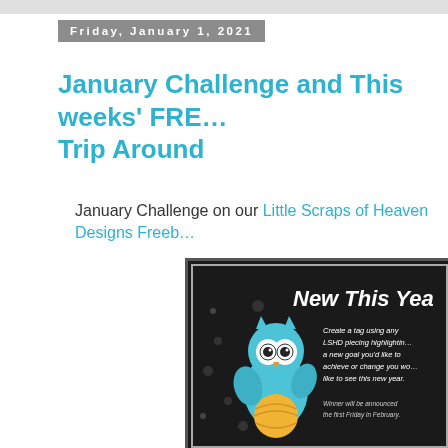Friday, January 1, 2021
January Challenge and This weeks' FREE Trip Around
January Challenge on our Little Scraps of Heaven Designs Freeb…
[Figure (illustration): 2021 January Challenge card with a cute blue owl cartoon holding a yellow ball on a dark background. Text reads 'New This Year' and 'Create a tag using any LSHD piecing highlighting a new goal you'd like to achieve or change you would like to see this new year. Winner will be announced the first Friday in February.']